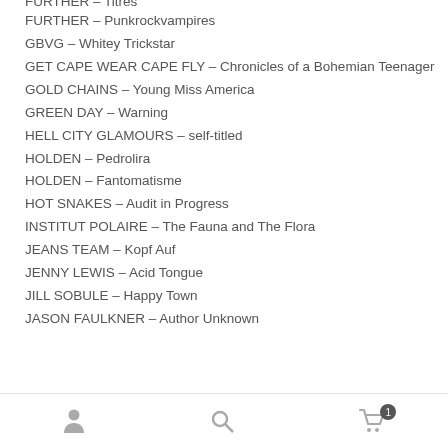FURTHER – Punkrockvampires
GBVG – Whitey Trickstar
GET CAPE WEAR CAPE FLY – Chronicles of a Bohemian Teenager
GOLD CHAINS – Young Miss America
GREEN DAY – Warning
HELL CITY GLAMOURS – self-titled
HOLDEN – Pedrolira
HOLDEN – Fantomatisme
HOT SNAKES – Audit in Progress
INSTITUT POLAIRE – The Fauna and The Flora
JEANS TEAM – Kopf Auf
JENNY LEWIS – Acid Tongue
JILL SOBULE – Happy Town
JASON FAULKNER – Author Unknown
User | Search | Cart (1)